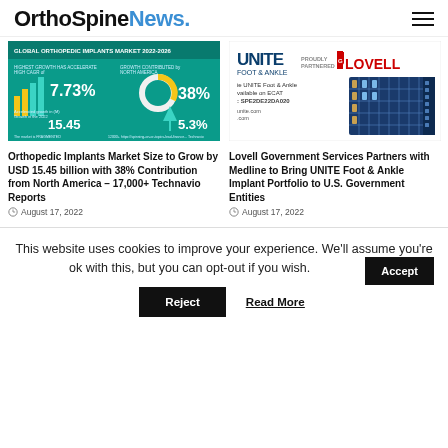OrthoSpineNews.
[Figure (infographic): Global Orthopedic Implants Market 2022-2026 infographic showing 7.73% CAGR, 38% North America contribution, 15.45 market size, 5.3% growth]
[Figure (infographic): UNITE Foot & Ankle proudly partnered with Lovell Government Services advertisement showing implant tray]
Orthopedic Implants Market Size to Grow by USD 15.45 billion with 38% Contribution from North America – 17,000+ Technavio Reports
August 17, 2022
Lovell Government Services Partners with Medline to Bring UNITE Foot & Ankle Implant Portfolio to U.S. Government Entities
August 17, 2022
This website uses cookies to improve your experience. We'll assume you're ok with this, but you can opt-out if you wish.
Accept
Reject
Read More